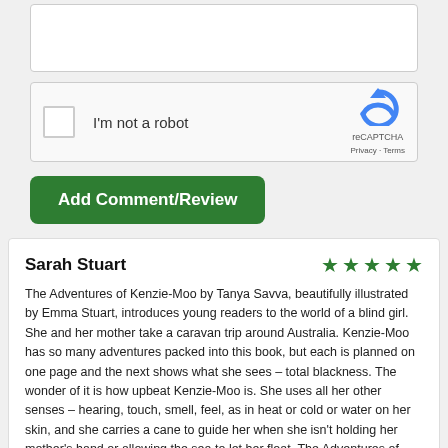[Figure (screenshot): Empty white text input box form field]
[Figure (screenshot): reCAPTCHA widget with checkbox labeled 'I'm not a robot' and reCAPTCHA logo with Privacy and Terms links]
Add Comment/Review
Sarah Stuart
[Figure (other): Five green stars rating]
The Adventures of Kenzie-Moo by Tanya Savva, beautifully illustrated by Emma Stuart, introduces young readers to the world of a blind girl. She and her mother take a caravan trip around Australia. Kenzie-Moo has so many adventures packed into this book, but each is planned on one page and the next shows what she sees – total blackness. The wonder of it is how upbeat Kenzie-Moo is. She uses all her other senses – hearing, touch, smell, feel, as in heat or cold or water on her skin, and she carries a cane to guide her when she isn't holding her mother's hand or allowing the sea to let her float. The Adventures of Kenzie-Moo is fun to read, and a marvelous way to show sighted children how much the blind can enjoy.
I have the greatest admiration for Tanya Savva; The Adventures of Kenzie-Moo is based on her own experience as a single mother of a blind daughter. Savva shows, through captivating stories, how rich life without sight can be if the child is encouraged to use his or her other senses to the full. Kenzie-Moo has a ride in a helicopter, visits Marine Magic where she swims with a dolphin called Bella who plays chase with her, goes to the beach and climbs sand dunes, and swims over the Great Barrier Reef. After every adventure, she asks a question: "Do you think if you closed your eyes